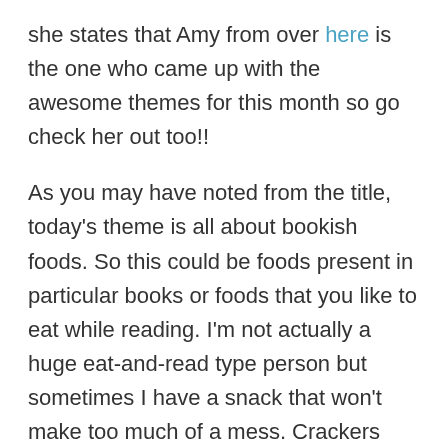she states that Amy from over here is the one who came up with the awesome themes for this month so go check her out too!!
As you may have noted from the title, today's theme is all about bookish foods. So this could be foods present in particular books or foods that you like to eat while reading. I'm not actually a huge eat-and-read type person but sometimes I have a snack that won't make too much of a mess. Crackers and cookies are a no go for me because...crumbs. My favorite treat to have while reading is strawberries with a little whipped cream. Of course, I also love coffee, cocoa, or tea while I'm reading depending on the mood I'm in. Like I'm actually just so excited for autumn and winter to come back around so I can curl up with some hot chocolate and a book and a warm blanket. When will summer be